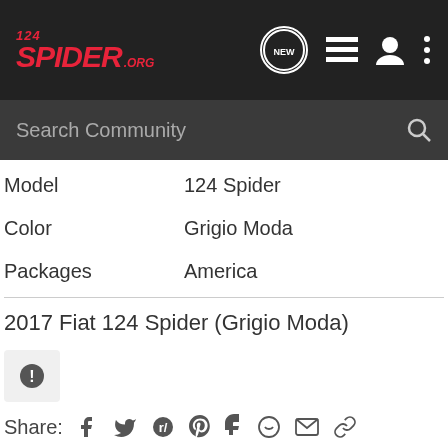[Figure (screenshot): 124Spider.org website header with logo and navigation icons including NEW chat bubble, list, user, and menu icons]
| Model | 124 Spider |
| Color | Grigio Moda |
| Packages | America |
2017 Fiat 124 Spider (Grigio Moda)
Share: [social icons]
Comments
There are no comments to display.